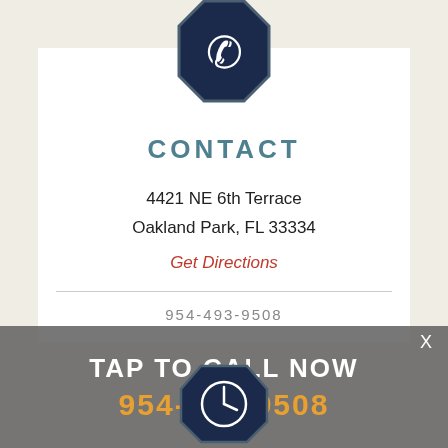[Figure (illustration): Dark navy octagon-shaped phone icon at top center of card]
CONTACT
4421 NE 6th Terrace
Oakland Park, FL 33334
Get Directions
954-493-9508
TAP TO CALL NOW
954-493-9508
[Figure (illustration): Dark navy octagon-shaped clock/phone icon at bottom center]